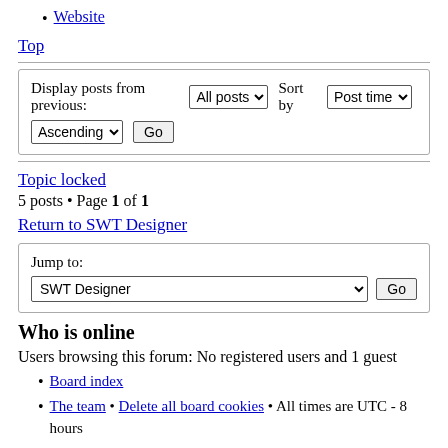Website
Top
Display posts from previous: All posts  Sort by  Post time  Ascending  Go
Topic locked
5 posts • Page 1 of 1
Return to SWT Designer
Jump to: SWT Designer  Go
Who is online
Users browsing this forum: No registered users and 1 guest
Board index
The team • Delete all board cookies • All times are UTC - 8 hours